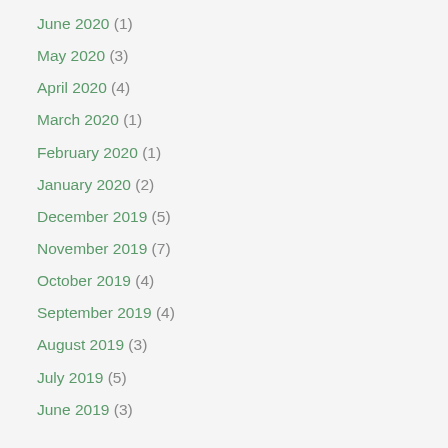June 2020 (1)
May 2020 (3)
April 2020 (4)
March 2020 (1)
February 2020 (1)
January 2020 (2)
December 2019 (5)
November 2019 (7)
October 2019 (4)
September 2019 (4)
August 2019 (3)
July 2019 (5)
June 2019 (3)